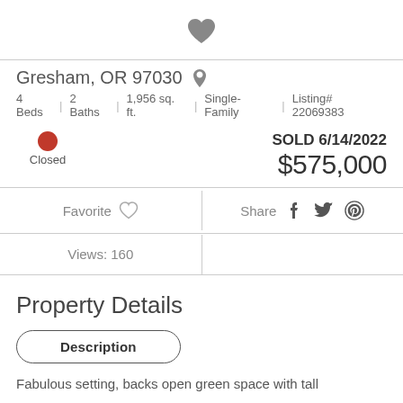[Figure (illustration): Dark gray heart icon centered at top]
Gresham, OR 97030
4 Beds | 2 Baths | 1,956 sq. ft. | Single-Family | Listing# 22069383
Closed  SOLD 6/14/2022  $575,000
Favorite  Share
Views: 160
Property Details
Description
Fabulous setting, backs open green space with tall